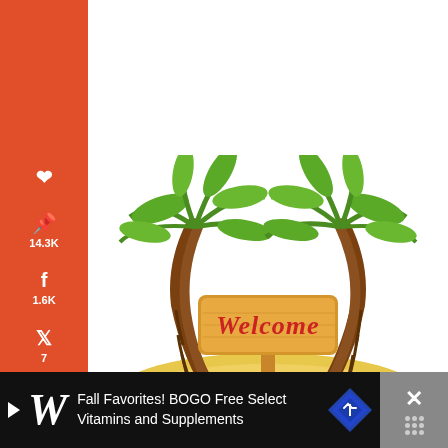[Figure (illustration): Tropical beach scene with two palm trees, sandy island, and a wooden 'Welcome' sign in the center]
14.3K
1.6K
7
15.8K
SHARES
Fall Favorites! BOGO Free Select Vitamins and Supplements